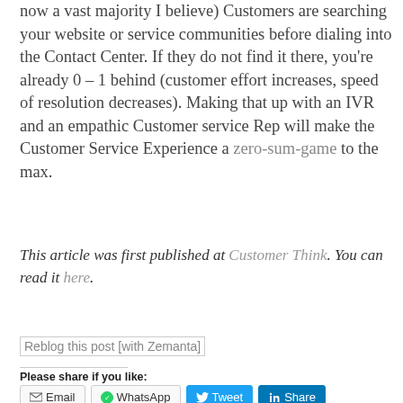now a vast majority I believe) Customers are searching your website or service communities before dialing into the Contact Center. If they do not find it there, you're already 0 – 1 behind (customer effort increases, speed of resolution decreases). Making that up with an IVR and an empathic Customer service Rep will make the Customer Service Experience a zero-sum-game to the max.
This article was first published at Customer Think. You can read it here.
[Figure (other): Reblog this post [with Zemanta] button/image placeholder]
Please share if you like:
Email | WhatsApp | Tweet | Share